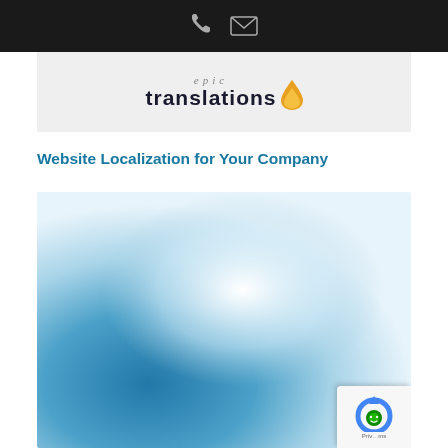[phone icon] [email icon]
[Figure (logo): Epic Translations logo with stylized text and drop icon]
Website Localization for Your Company
[Figure (photo): Blue and white gradient abstract background image, possibly a world/globe visualization]
[Figure (other): reCAPTCHA badge with Priv...ms text]